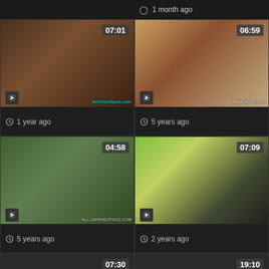1 month ago
[Figure (screenshot): Video thumbnail grid card 1 year ago, duration 07:01]
1 year ago
[Figure (screenshot): Video thumbnail grid card 5 years ago, duration 06:59]
5 years ago
[Figure (screenshot): Video thumbnail grid card 5 years ago, duration 04:58]
5 years ago
[Figure (screenshot): Video thumbnail grid card 2 years ago, duration 07:09]
2 years ago
[Figure (screenshot): Video thumbnail grid card blank, duration 07:30]
[Figure (screenshot): Video thumbnail grid card blank, duration 19:10]